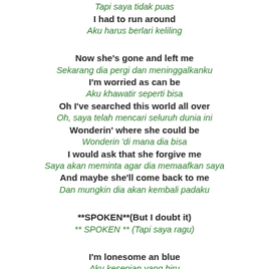Tapi saya tidak puas
I had to run around
Aku harus berlari keliling
Now she's gone and left me
Sekarang dia pergi dan meninggalkanku
I'm worried as can be
Aku khawatir seperti bisa
Oh I've searched this world all over
Oh, saya telah mencari seluruh dunia ini
Wonderin' where she could be
Wonderin 'di mana dia bisa
I would ask that she forgive me
Saya akan meminta agar dia memaafkan saya
And maybe she'll come back to me
Dan mungkin dia akan kembali padaku
**SPOKEN**(But I doubt it)
** SPOKEN ** (Tapi saya ragu)
I'm lonesome an blue
Aku kesepian yang biru
And I've learned a thing or two
Dan aku telah belajar satu atau dua hal
Oh fellas here's a tip
Oh, ini adalah tip